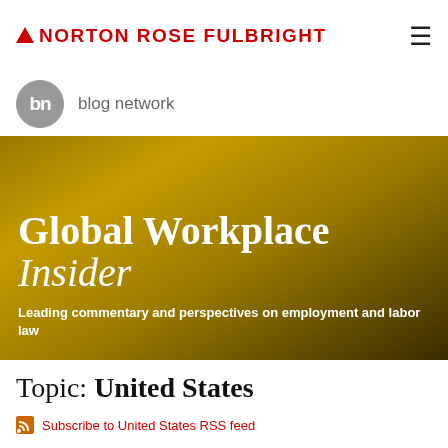NORTON ROSE FULBRIGHT
[Figure (logo): Norton Rose Fulbright logo with red text and caret symbol, plus hamburger menu icon]
[Figure (logo): bn blog network circular grey logo with text 'blog network' beside it]
Global Workplace Insider — Leading commentary and perspectives on employment and labor law
Topic: United States
Subscribe to United States RSS feed